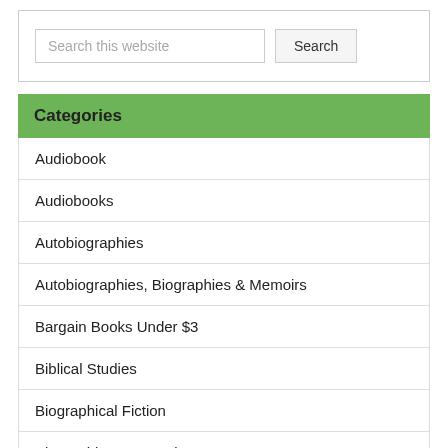[Figure (screenshot): Search bar with text input field labeled 'Search this website' and a 'Search' button]
Categories
Audiobook
Audiobooks
Autobiographies
Autobiographies, Biographies & Memoirs
Bargain Books Under $3
Biblical Studies
Biographical Fiction
Biographies & Memoirs
Birds